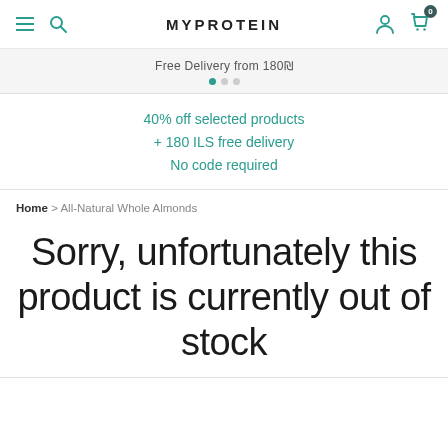MYPROTEIN
Free Delivery from 180₪
40% off selected products
+ 180 ILS free delivery
No code required
Home > All-Natural Whole Almonds
Sorry, unfortunately this product is currently out of stock